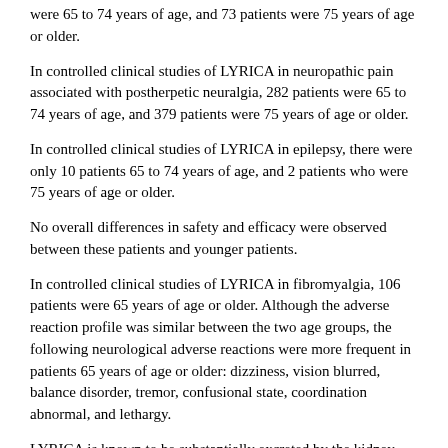were 65 to 74 years of age, and 73 patients were 75 years of age or older.
In controlled clinical studies of LYRICA in neuropathic pain associated with postherpetic neuralgia, 282 patients were 65 to 74 years of age, and 379 patients were 75 years of age or older.
In controlled clinical studies of LYRICA in epilepsy, there were only 10 patients 65 to 74 years of age, and 2 patients who were 75 years of age or older.
No overall differences in safety and efficacy were observed between these patients and younger patients.
In controlled clinical studies of LYRICA in fibromyalgia, 106 patients were 65 years of age or older. Although the adverse reaction profile was similar between the two age groups, the following neurological adverse reactions were more frequent in patients 65 years of age or older: dizziness, vision blurred, balance disorder, tremor, confusional state, coordination abnormal, and lethargy.
LYRICA is known to be substantially excreted by the kidney, and the risk of toxic reactions to LYRICA may be greater in patients with impaired renal function. Because LYRICA is eliminated primarily by renal excretion, adjust the dose for elderly patients with renal impairment [see Dosage and Administration (2.6)].